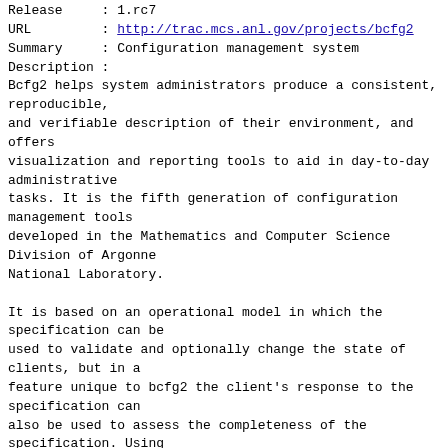Release     : 1.rc7
URL         : http://trac.mcs.anl.gov/projects/bcfg2
Summary     : Configuration management system
Description :
Bcfg2 helps system administrators produce a consistent, reproducible,
and verifiable description of their environment, and offers
visualization and reporting tools to aid in day-to-day administrative
tasks. It is the fifth generation of configuration management tools
developed in the Mathematics and Computer Science Division of Argonne
National Laboratory.

It is based on an operational model in which the specification can be
used to validate and optionally change the state of clients, but in a
feature unique to bcfg2 the client's response to the specification can
also be used to assess the completeness of the specification. Using
this feature, bcfg2 provides an objective measure of how good a job an
administrator has done in specifying the configuration of client
systems. Bcfg2 is therefore built to help administrators construct an
accurate, comprehensive specification.